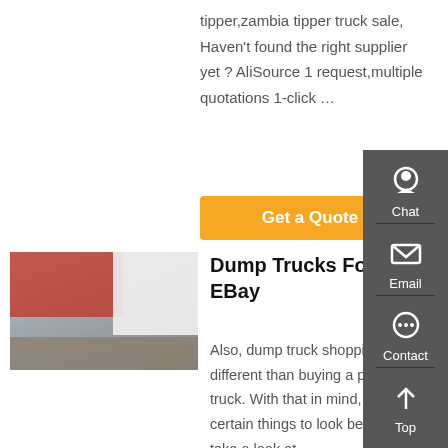tipper,zambia tipper truck sale, Haven't found the right supplier yet ? AliSource 1 request,multiple quotations 1-click …
Get a Quote
[Figure (photo): White Sinotruk HOWO heavy truck parked in a yard with Chinese signage in the background]
Dump Trucks For Sale | EBay
Also, dump truck shopping slightly different than buying a pickup truck. With that in mind, there are certain things to look before as you take a look at